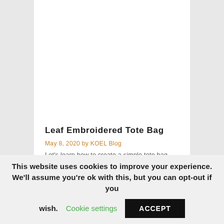Leaf Embroidered Tote Bag
May 8, 2020 by KOEL Blog
Let's learn how to create a simple tote bag embroidery with this elegant Leaf EMbroidered Tote Bag pattern by Vaskavullaknit.
This website uses cookies to improve your experience. We'll assume you're ok with this, but you can opt-out if you wish. Cookie settings ACCEPT